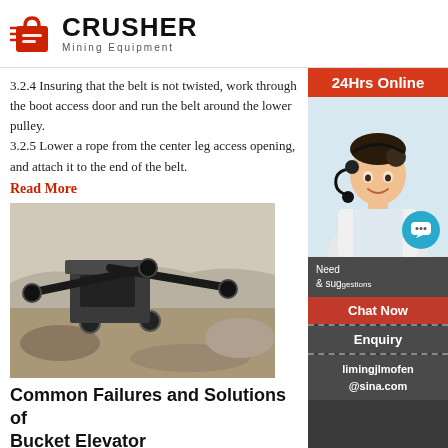CRUSHER Mining Equipment
3.2.4 Insuring that the belt is not twisted, work through the boot access door and run the belt around the lower pulley. 3.2.5 Lower a rope from the center leg access opening, and attach it to the end of the belt.
Read More
[Figure (photo): Mining crusher machine in operation outdoors at a quarry site]
Common Failures and Solutions of Bucket Elevator
Belt bucket elevator because of its characteristics advantages, which widely used in food, chemical other industries now and play an important role diverse production line, but in the long run as w strength work, will inevitably generate some inevitable
[Figure (other): 24Hrs Online customer service sidebar with chat now button, enquiry section, and email limingjlmofen@sina.com]